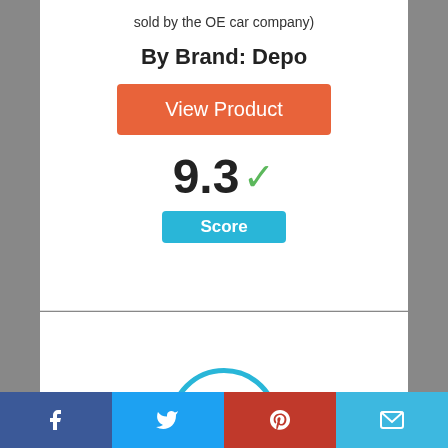sold by the OE car company)
By Brand: Depo
[Figure (other): Orange 'View Product' button]
[Figure (infographic): Score 9.3 with green checkmark and blue Score badge]
[Figure (infographic): Circle with number 4 inside, blue border]
Facebook | Twitter | Pinterest | Email share buttons